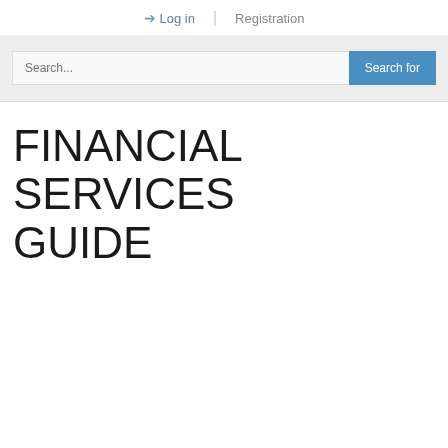Log in | Registration
Search...
FINANCIAL SERVICES GUIDE